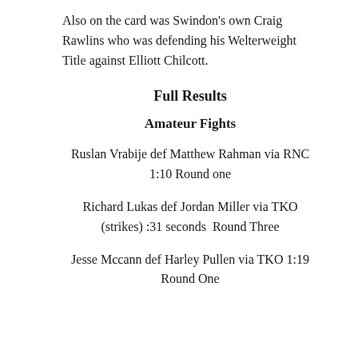Also on the card was Swindon's own Craig Rawlins who was defending his Welterweight Title against Elliott Chilcott.
Full Results
Amateur Fights
Ruslan Vrabije def Matthew Rahman via RNC 1:10 Round one
Richard Lukas def Jordan Miller via TKO (strikes) :31 seconds Round Three
Jesse Mccann def Harley Pullen via TKO 1:19 Round One